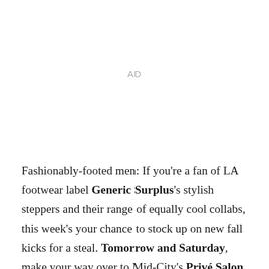AD
Fashionably-footed men: If you're a fan of LA footwear label Generic Surplus's stylish steppers and their range of equally cool collabs, this week's your chance to stock up on new fall kicks for a steal. Tomorrow and Saturday, make your way over to Mid-City's Privé Salon, where the laid-back shoe brand and its fancy older brother Generic Man